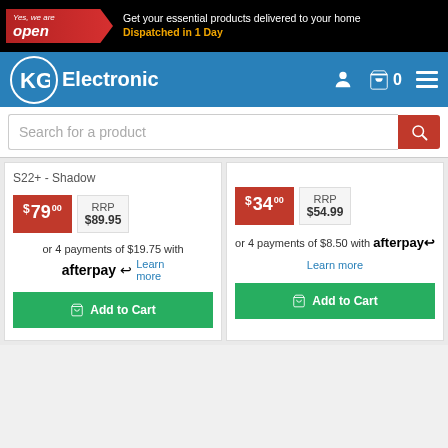Yes, we are open — Get your essential products delivered to your home. Dispatched in 1 Day
[Figure (logo): KG Electronic logo with navigation bar showing cart icon and hamburger menu]
Search for a product
S22+ - Shadow
$79.00 RRP $89.95 or 4 payments of $19.75 with afterpay Learn more
Add to Cart
$34.00 RRP $54.99 or 4 payments of $8.50 with afterpay Learn more
Add to Cart